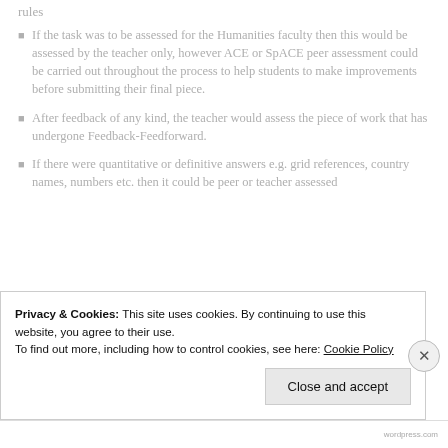rules
If the task was to be assessed for the Humanities faculty then this would be assessed by the teacher only, however ACE or SpACE peer assessment could be carried out throughout the process to help students to make improvements before submitting their final piece.
After feedback of any kind, the teacher would assess the piece of work that has undergone Feedback-Feedforward.
If there were quantitative or definitive answers e.g. grid references, country names, numbers etc. then it could be peer or teacher assessed
Privacy & Cookies: This site uses cookies. By continuing to use this website, you agree to their use.
To find out more, including how to control cookies, see here: Cookie Policy
Close and accept